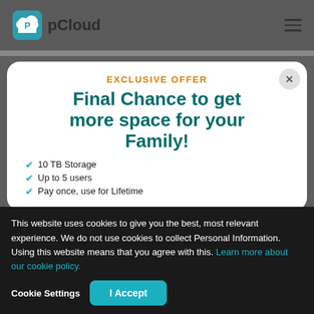pCloud
28. How can I stop a backup in pCloud?
29. How often will my backups be performed?
30. What is Remote Upload limits?
EXCLUSIVE OFFER
Final Chance to get more space for your Family!
10 TB Storage
Up to 5 users
Pay once, use for Lifetime
This website uses cookies to give you the best, most relevant experience. We do not use cookies to collect Personal Information. Using this website means that you agree with this. Learn more about our cookie policy.
Cookie Settings
I Accept